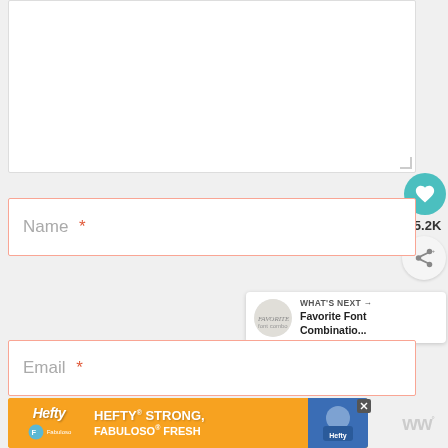[Figure (screenshot): Empty comment text area input field with resize handle in bottom-right corner]
[Figure (screenshot): Social like button (teal heart icon) with 55.2K count and share button below]
[Figure (screenshot): Name input field with placeholder text 'Name' and red asterisk required marker]
[Figure (screenshot): What's Next panel showing 'Favorite Font Combinatio...' article thumbnail]
[Figure (screenshot): Email input field with placeholder text 'Email' and red asterisk required marker]
[Figure (screenshot): Hefty Strong, Fabuloso Fresh advertisement banner in orange with blue product image on right]